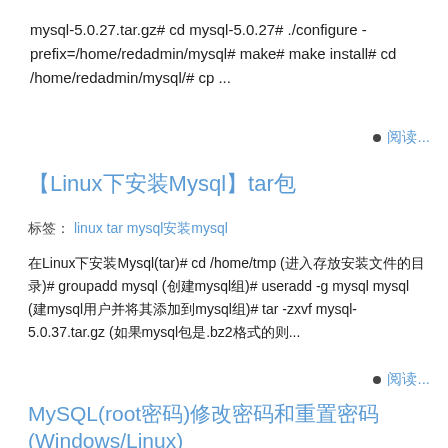mysql-5.0.27.tar.gz# cd mysql-5.0.27# ./configure -prefix=/home/redadmin/mysql# make# make install# cd /home/redadmin/mysql/# cp ...
阅读...
【Linux下安装Mysql】tar包
标签：linux tar mysql安装mysql
在Linux下安装Mysql(tar)# cd /home/tmp (进入存放安装文件的目录)# groupadd mysql (创建mysql组)# useradd -g mysql mysql (建mysql用户并将其添加到mysql组)# tar -zxvf mysql-5.0.37.tar.gz (如果mysql包是.bz2格式的则...
阅读...
MySQL(root密码)修改密码和重置密码(Windows/Linux)